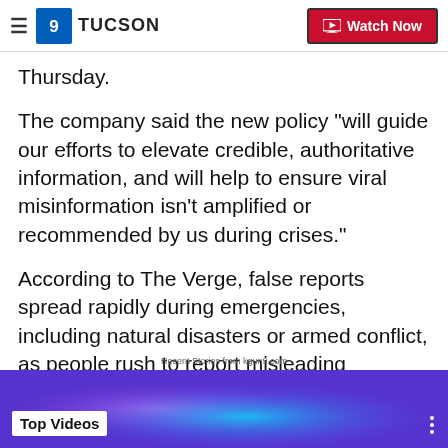9 News KGUN Tucson | Watch Now
Thursday.
The company said the new policy "will guide our efforts to elevate credible, authoritative information, and will help to ensure viral misinformation isn't amplified or recommended by us during crises."
According to The Verge, false reports spread rapidly during emergencies, including natural disasters or armed conflict, as people rush to report misleading information.
Recent Stories from kgun9.com
[Figure (screenshot): Video thumbnail strip with purple-blue gradient background showing Top Videos label]